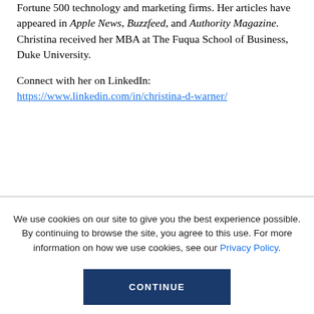Fortune 500 technology and marketing firms. Her articles have appeared in Apple News, Buzzfeed, and Authority Magazine. Christina received her MBA at The Fuqua School of Business, Duke University.

Connect with her on LinkedIn:
https://www.linkedin.com/in/christina-d-warner/
We use cookies on our site to give you the best experience possible. By continuing to browse the site, you agree to this use. For more information on how we use cookies, see our Privacy Policy.
CONTINUE